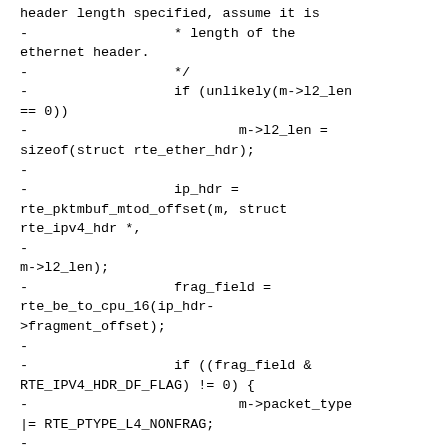header length specified, assume it is
-                  * length of the
ethernet header.
-                  */
-                  if (unlikely(m->l2_len
== 0))
-                          m->l2_len =
sizeof(struct rte_ether_hdr);
-
-                  ip_hdr =
rte_pktmbuf_mtod_offset(m, struct
rte_ipv4_hdr *,
-
m->l2_len);
-                  frag_field =
rte_be_to_cpu_16(ip_hdr-
>fragment_offset);
-
-                  if ((frag_field &
RTE_IPV4_HDR_DF_FLAG) != 0) {
-                          m->packet_type
|= RTE_PTYPE_L4_NONFRAG;
-
-                          /* If IPv4
header has DF flag enabled and TSO
support is
-                          * disabled,
partial chcecksum should not be
calculated.
-                          */